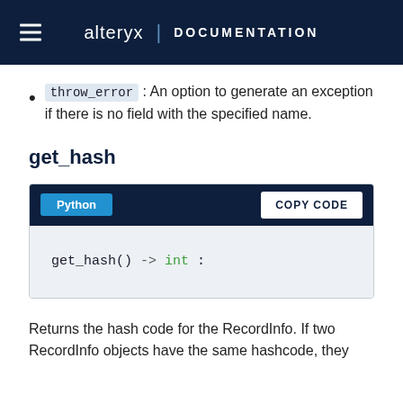alteryx | DOCUMENTATION
throw_error : An option to generate an exception if there is no field with the specified name.
get_hash
[Figure (screenshot): Code block with Python tab and COPY CODE button showing: get_hash() -> int :]
Returns the hash code for the RecordInfo. If two RecordInfo objects have the same hashcode, they should have the same possible.